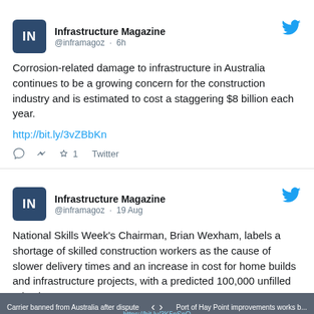[Figure (screenshot): Tweet from Infrastructure Magazine (@inframagoz) posted 6h ago: 'Corrosion-related damage to infrastructure in Australia continues to be a growing concern for the construction industry and is estimated to cost a staggering $8 billion each year.' with link http://bit.ly/3vZBbKn and interaction icons.]
[Figure (screenshot): Tweet from Infrastructure Magazine (@inframagoz) posted 19 Aug: 'National Skills Week's Chairman, Brian Wexham, labels a shortage of skilled construction workers as the cause of slower delivery times and an increase in cost for home builds and infrastructure projects, with a predicted 100,000 unfilled roles by 2023.']
Carrier banned from Australia after dispute  <  >  Port of Hay Point improvements works b...  https://bit.ly/3K5pSpO